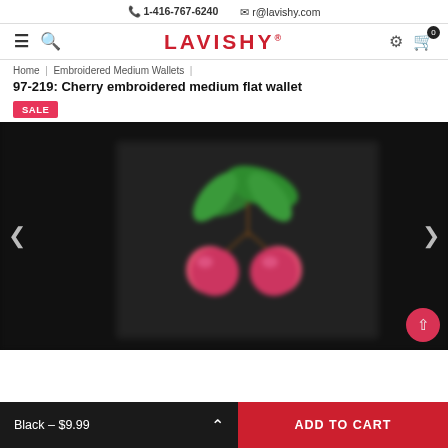📞 1-416-767-6240  ✉ r@lavishy.com
[Figure (logo): LAVISHY brand logo in red text with navigation icons (hamburger, search, settings, cart)]
Home | Embroidered Medium Wallets |
97-219: Cherry embroidered medium flat wallet
SALE
[Figure (photo): Blurred close-up photo of a black flat wallet with cherry embroidery (green leaves, pink/red cherries) on a dark background. Navigation arrows on left and right sides. Scroll-to-top pink button at bottom right.]
Black – $9.99  ADD TO CART